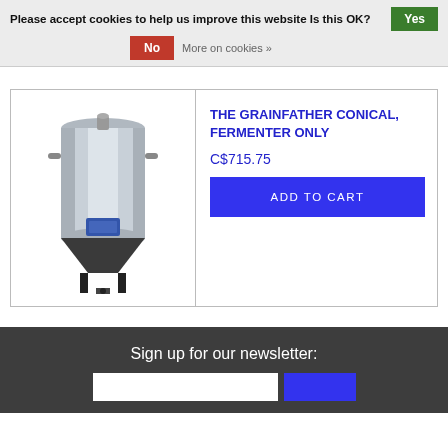Please accept cookies to help us improve this website Is this OK? Yes
No   More on cookies »
[Figure (photo): Grainfather conical fermenter — stainless steel tall cylindrical vessel with black conical base and valves]
THE GRAINFATHER CONICAL, FERMENTER ONLY
C$715.75
ADD TO CART
Sign up for our newsletter: